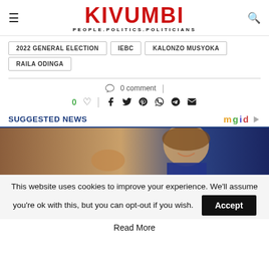KIVUMBI — PEOPLE.POLITICS.POLITICIANS
2022 GENERAL ELECTION
IEBC
KALONZO MUSYOKA
RAILA ODINGA
0 comment
0 likes, social share icons
SUGGESTED NEWS
[Figure (photo): Woman smiling, brown background, suggested news image]
This website uses cookies to improve your experience. We'll assume you're ok with this, but you can opt-out if you wish.
Accept
Read More